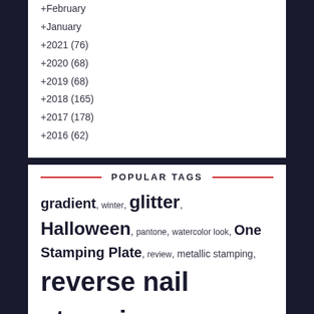+February
+January
+2021 (76)
+2020 (68)
+2019 (68)
+2018 (165)
+2017 (178)
+2016 (62)
POPULAR TAGS
gradient, winter, glitter, Halloween, pantone, watercolor look, One Stamping Plate, review, metallic stamping, reverse nail stamping, false nails, thermal polish, nature, jelly, floral, red, french tip, aquatic, rainbow, freehand, shrink stamping, nail stamping, matte, simple nail art, nail